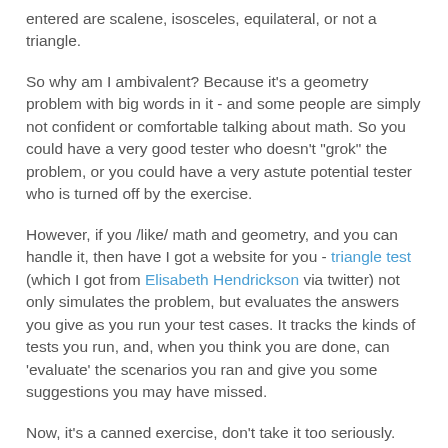entered are scalene, isosceles, equilateral, or not a triangle.
So why am I ambivalent? Because it's a geometry problem with big words in it - and some people are simply not confident or comfortable talking about math. So you could have a very good tester who doesn't "grok" the problem, or you could have a very astute potential tester who is turned off by the exercise.
However, if you /like/ math and geometry, and you can handle it, then have I got a website for you - triangle test (which I got from Elisabeth Hendrickson via twitter) not only simulates the problem, but evaluates the answers you give as you run your test cases. It tracks the kinds of tests you run, and, when you think you are done, can 'evaluate' the scenarios you ran and give you some suggestions you may have missed.
Now, it's a canned exercise, don't take it too seriously. But for a little quick feedback fun challenge, it's hard to beat. Check it out.